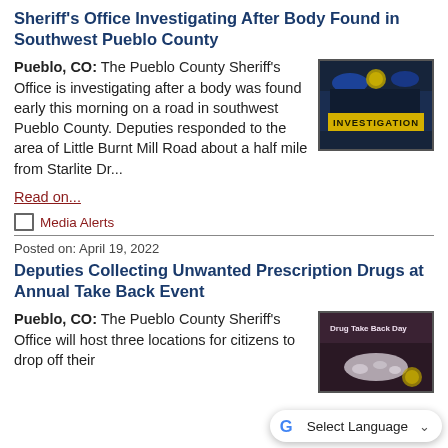Sheriff's Office Investigating After Body Found in Southwest Pueblo County
Pueblo, CO: The Pueblo County Sheriff's Office is investigating after a body was found early this morning on a road in southwest Pueblo County. Deputies responded to the area of Little Burnt Mill Road about a half mile from Starlite Dr...
[Figure (photo): Dark photo of police vehicle with blue lights and yellow text reading INVESTIGATION]
Read on...
Media Alerts
Posted on: April 19, 2022
Deputies Collecting Unwanted Prescription Drugs at Annual Take Back Event
Pueblo, CO: The Pueblo County Sheriff's Office will host three locations for citizens to drop off their
[Figure (photo): Drug Take Back Day event image with pills visible]
[Figure (screenshot): Google Select Language dropdown widget]